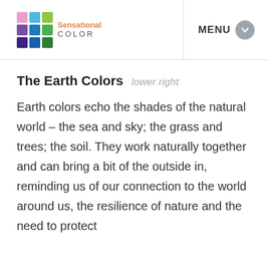Sensational COLOR — MENU
The Earth Colors lower right
Earth colors echo the shades of the natural world – the sea and sky; the grass and trees; the soil. They work naturally together and can bring a bit of the outside in, reminding us of our connection to the world around us, the resilience of nature and the need to protect